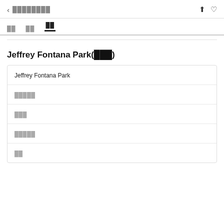< ████████  [share icon] [heart icon]
██  ██  ██
Jeffrey Fontana Park(███)
| Jeffrey Fontana Park |
| █████ |
| ███ |
| █████ |
| ██ |